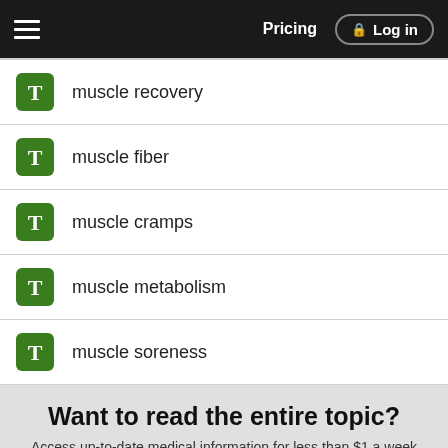Pricing | Log in
muscle recovery
muscle fiber
muscle cramps
muscle metabolism
muscle soreness
Want to read the entire topic?
Access up-to-date medical information for less than $1 a week
Purchase a subscription
I'm already a subscriber
Browse sample topics